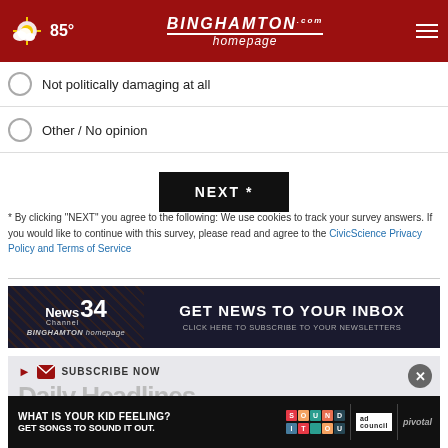85° Binghamton Homepage
Not politically damaging at all
Other / No opinion
NEXT *
* By clicking "NEXT" you agree to the following: We use cookies to track your survey answers. If you would like to continue with this survey, please read and agree to the CivicScience Privacy Policy and Terms of Service
[Figure (infographic): News Channel 34 Binghamton Homepage banner ad: GET NEWS TO YOUR INBOX - CLICK HERE TO SUBSCRIBE TO YOUR NEWSLETTERS]
[Figure (infographic): Subscribe Now section with envelope icon and close button, showing 'Daily Headlines' text. Overlaid by an ad: WHAT IS YOUR KID FEELING? GET SONGS TO SOUND IT OUT. with Sound It Out and ad council/pivotal logos.]